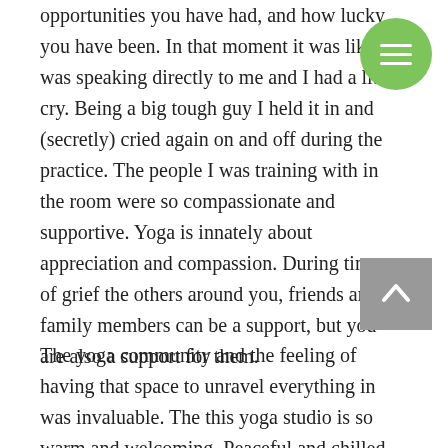opportunities you have had, and how lucky you have been. In that moment it was like was speaking directly to me and I had a little cry. Being a big tough guy I held it in and (secretly) cried again on and off during the practice. The people I was training with in the room were so compassionate and supportive. Yoga is innately about appreciation and compassion. During times of grief the others around you, friends and family members can be a support, but you are also a support for them.
The yoga community and the feeling of having that space to unravel everything in was invaluable. The this yoga studio is so warm and welcoming. Peaceful and chilled. Students